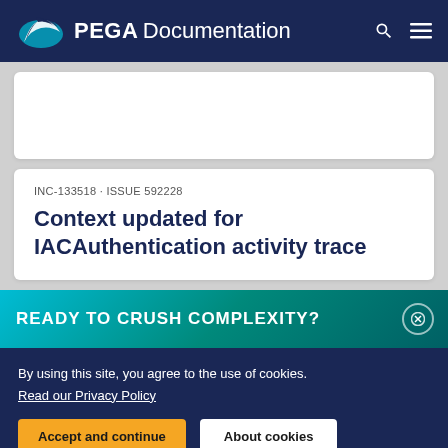PEGA Documentation
INC-133518 · ISSUE 592228
Context updated for IACAuthentication activity trace
READY TO CRUSH COMPLEXITY?
By using this site, you agree to the use of cookies. Read our Privacy Policy
Accept and continue  About cookies